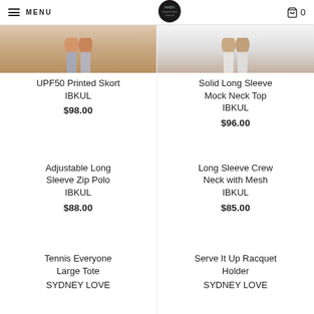MENU | molly's | 0
[Figure (photo): Partial product photo of UPF50 Printed Skort, showing lower body/legs]
UPF50 Printed Skort
IBKUL
$98.00
[Figure (photo): Partial product photo of Solid Long Sleeve Mock Neck Top, showing lower body/legs]
Solid Long Sleeve Mock Neck Top
IBKUL
$96.00
Adjustable Long Sleeve Zip Polo
IBKUL
$88.00
Long Sleeve Crew Neck with Mesh
IBKUL
$85.00
Tennis Everyone Large Tote
SYDNEY LOVE
Serve It Up Racquet Holder
SYDNEY LOVE